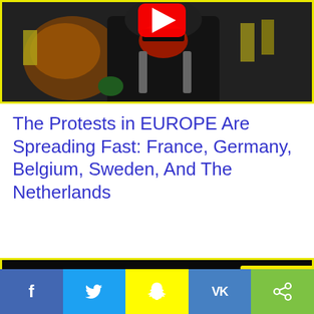[Figure (photo): Protest scene with people wearing yellow vests, person in foreground wearing black jacket and red face covering, fire in background. YouTube play button overlay on top.]
The Protests in EUROPE Are Spreading Fast: France, Germany, Belgium, Sweden, And The Netherlands
[Figure (photo): Dark nighttime image with a yellow sign reading 'SWEDEN' partially visible]
Social share buttons: Facebook, Twitter, Snapchat, VK, Share